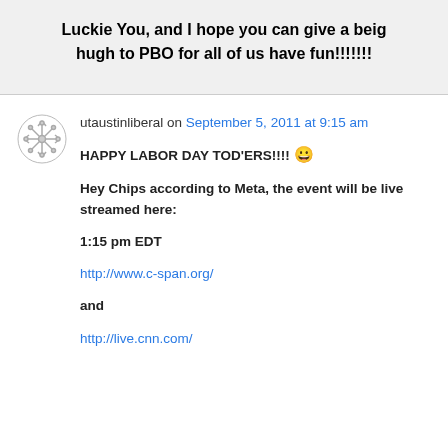Luckie You, and I hope you can give a beig hugh to PBO for all of us have fun!!!!!!!
utaustinliberal on September 5, 2011 at 9:15 am
HAPPY LABOR DAY TOD'ERS!!!! 😀

Hey Chips according to Meta, the event will be live streamed here:

1:15 pm EDT

http://www.c-span.org/

and

http://live.cnn.com/